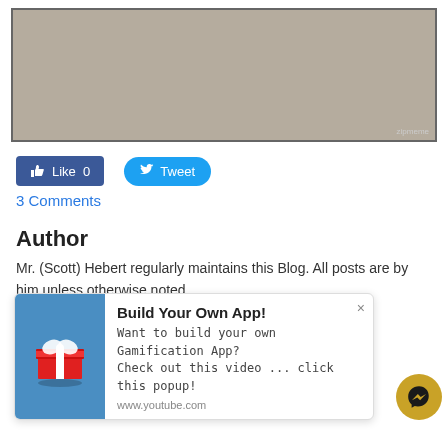[Figure (illustration): Meme image with text 'BROMODO DRAGONS' on sandy/rocky background with zipmeme watermark]
Like 0   Tweet
3 Comments
Author
Mr. (Scott) Hebert regularly maintains this Blog. All posts are by him unless otherwise noted.
Archives
December 2019
August 2019
[Figure (infographic): Popup ad: Build Your Own App! Want to build your own Gamification App? Check out this video ... click this popup! www.youtube.com — with gift box icon on blue background and close button]